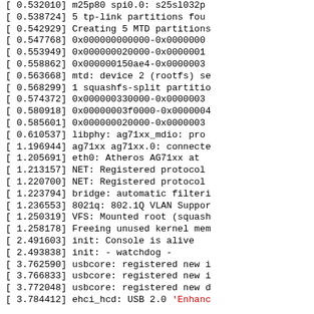[    0.532010] m25p80 spi0.0: s25sl032p
[    0.538724] 5 tp-link partitions fou
[    0.542929] Creating 5 MTD partitions
[    0.547768] 0x000000000000-0x0000000
[    0.553949] 0x000000020000-0x0000001
[    0.558862] 0x000000150ae4-0x0000003
[    0.563668] mtd: device 2 (rootfs) se
[    0.568299] 1 squashfs-split partitio
[    0.574372] 0x000000330000-0x0000003
[    0.580918] 0x00000003f0000-0x0000004
[    0.585601] 0x000000020000-0x0000003
[    0.610537] libphy: ag71xx_mdio: pro
[    1.196944] ag71xx ag71xx.0: connecte
[    1.205691] eth0: Atheros AG71xx at
[    1.213157] NET: Registered protocol
[    1.220700] NET: Registered protocol
[    1.223794] bridge: automatic filteri
[    1.236553] 8021q: 802.1Q VLAN Suppor
[    1.250319] VFS: Mounted root (squash
[    1.258178] Freeing unused kernel mem
[    2.491603] init: Console is alive
[    2.493838] init: - watchdog -
[    3.762590] usbcore: registered new i
[    3.766833] usbcore: registered new i
[    3.772048] usbcore: registered new d
[    3.784412] ehci_hcd: USB 2.0 'Enhanc